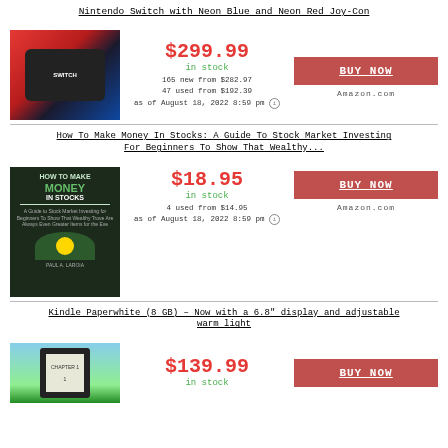Nintendo Switch with Neon Blue and Neon Red Joy-Con
[Figure (photo): Nintendo Switch console box with neon blue and red Joy-Con controllers]
$299.99
in stock
165 new from $282.97
47 used from $192.39
as of August 18, 2022 8:59 pm
BUY NOW
Amazon.com
How To Make Money In Stocks: A Guide To Stock Market Investing For Beginners To Show That Wealthy...
[Figure (photo): Book cover: How To Make Money In Stocks]
$18.95
in stock
4 used from $14.95
as of August 18, 2022 8:59 pm
BUY NOW
Amazon.com
Kindle Paperwhite (8 GB) – Now with a 6.8" display and adjustable warm light
[Figure (photo): Kindle Paperwhite device against outdoor background]
$139.99
in stock
BUY NOW